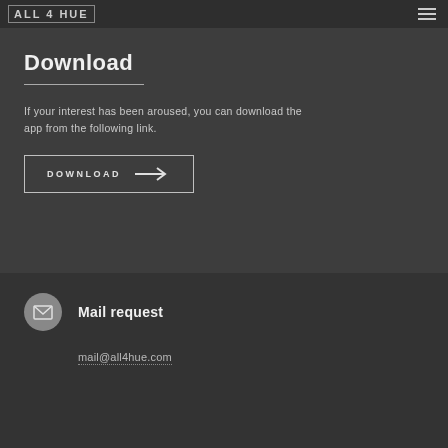ALL 4 HUE
Download
If your interest has been aroused, you can download the app from the following link.
DOWNLOAD →
Mail request
mail@all4hue.com